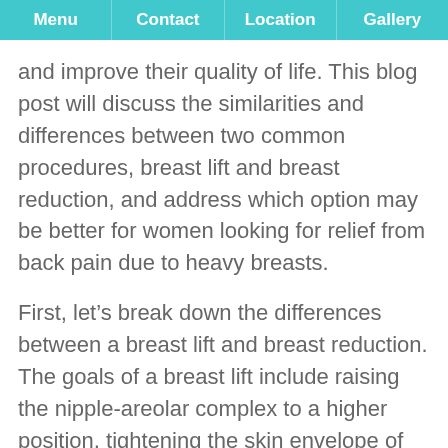Menu | Contact | Location | Gallery
and improve their quality of life. This blog post will discuss the similarities and differences between two common procedures, breast lift and breast reduction, and address which option may be better for women looking for relief from back pain due to heavy breasts.
First, let’s break down the differences between a breast lift and breast reduction. The goals of a breast lift include raising the nipple-areolar complex to a higher position, tightening the skin envelope of the breast, and improving upper breast fullness and shape. To achieve these goals, Dr. Temmen surgically repositions the nipple-areolar complex, to which...